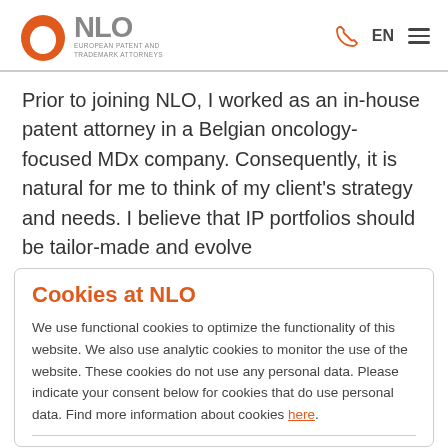NLO — European Patent and Trademark Attorneys
Prior to joining NLO, I worked as an in-house patent attorney in a Belgian oncology-focused MDx company. Consequently, it is natural for me to think of my client's strategy and needs. I believe that IP portfolios should be tailor-made and evolve
Cookies at NLO
We use functional cookies to optimize the functionality of this website. We also use analytic cookies to monitor the use of the website. These cookies do not use any personal data. Please indicate your consent below for cookies that do use personal data. Find more information about cookies here.
oriented